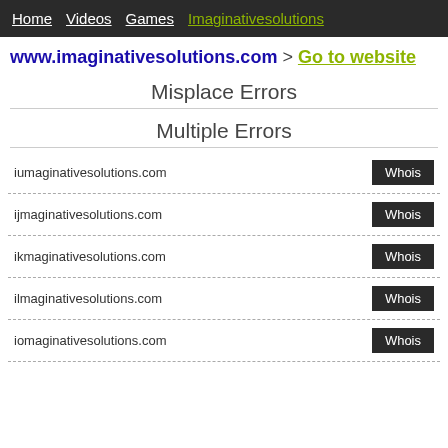Home  Videos  Games  Imaginativesolutions
www.imaginativesolutions.com > Go to website
Misplace Errors
Multiple Errors
iumaginativesolutions.com  Whois
ijmaginativesolutions.com  Whois
ikmaginativesolutions.com  Whois
ilmaginativesolutions.com  Whois
iomaginativesolutions.com  Whois